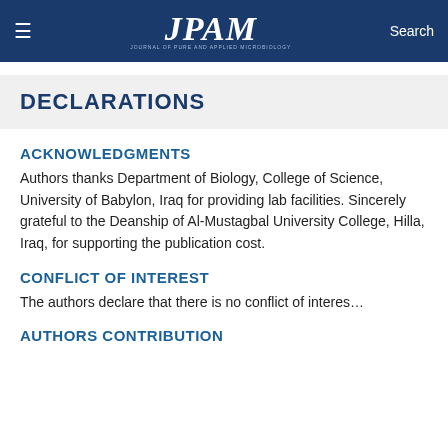≡   JPAM   Search
DECLARATIONS
ACKNOWLEDGMENTS
Authors thanks Department of Biology, College of Science, University of Babylon, Iraq for providing lab facilities. Sincerely grateful to the Deanship of Al-Mustagbal University College, Hilla, Iraq, for supporting the publication cost.
CONFLICT OF INTEREST
The authors declare that there is no conflict of interest.
AUTHORS CONTRIBUTION